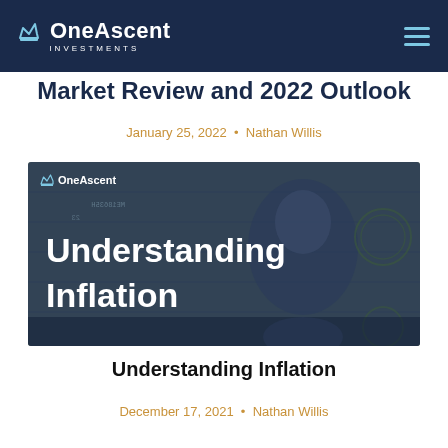OneAscent Investments
Market Review and 2022 Outlook
January 25, 2022  •  Nathan Willis
[Figure (illustration): OneAscent branded banner image showing 'Understanding Inflation' text over a dark blue overlay on US currency (Andrew Jackson on $20 bill), with OneAscent logo in top left corner]
Understanding Inflation
December 17, 2021  •  Nathan Willis